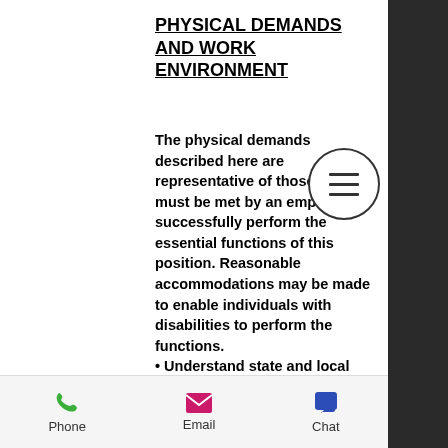PHYSICAL DEMANDS AND WORK ENVIRONMENT
The physical demands described here are representative of those that must be met by an employee to successfully perform the essential functions of this position. Reasonable accommodations may be made to enable individuals with disabilities to perform the functions. • Understand state and local building codes, and know OSHA, Environmental Protection Agency, and other electrical and industrial regulations related to your specific
[Figure (other): Hamburger menu icon inside a circle]
Phone  Email  Chat